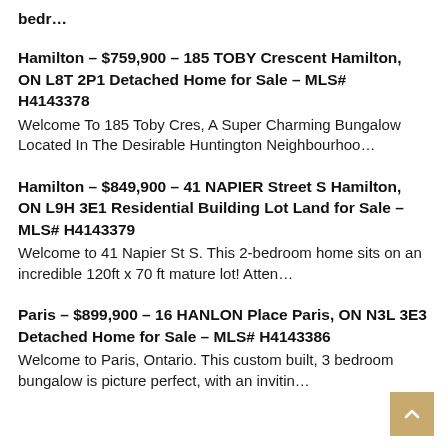bedr…
Hamilton - $759,900 - 185 TOBY Crescent Hamilton, ON L8T 2P1 Detached Home for Sale - MLS# H4143378
Welcome To 185 Toby Cres, A Super Charming Bungalow Located In The Desirable Huntington Neighbourhoo…
Hamilton - $849,900 - 41 NAPIER Street S Hamilton, ON L9H 3E1 Residential Building Lot Land for Sale - MLS# H4143379
Welcome to 41 Napier St S. This 2-bedroom home sits on an incredible 120ft x 70 ft mature lot! Atten…
Paris - $899,900 - 16 HANLON Place Paris, ON N3L 3E3 Detached Home for Sale - MLS# H4143386
Welcome to Paris, Ontario. This custom built, 3 bedroom bungalow is picture perfect, with an invitin…